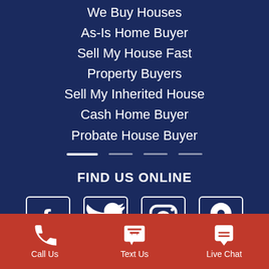We Buy Houses
As-Is Home Buyer
Sell My House Fast
Property Buyers
Sell My Inherited House
Cash Home Buyer
Probate House Buyer
FIND US ONLINE
[Figure (infographic): Row of 4 social media icon boxes: Facebook (f), Twitter (bird), Instagram (camera), Location pin]
[Figure (infographic): Red bottom bar with Call Us (phone icon), Text Us (chat bubble icon), Live Chat (chat icon) buttons]